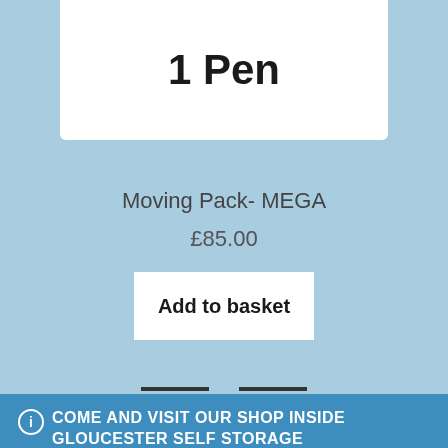1 Pen
Moving Pack- MEGA
£85.00
Add to basket
COME AND VISIT OUR SHOP INSIDE GLOUCESTER SELF STORAGE
Dismiss
most competitive prices around.